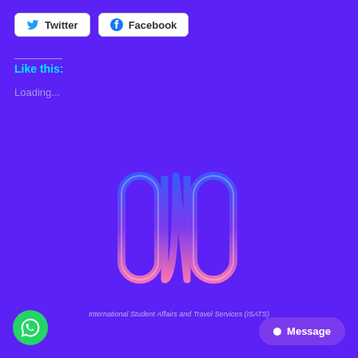[Figure (other): Twitter share button with bird icon]
[Figure (other): Facebook share button with circle-f icon]
Like this:
Loading...
[Figure (logo): ONO logo - stylized letters with blue-to-pink gradient neon outline on purple background]
International Student Affairs and Travel Services (ISATS)
[Figure (other): WhatsApp button - green circle with WhatsApp icon]
Message